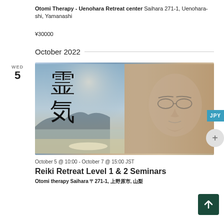Otomi Therapy - Uenohara Retreat center Saihara 271-1, Uenohara-shi, Yamanashi
¥30000
October 2022
WED
5
[Figure (photo): Reiki-themed image showing Japanese kanji characters 霊気 (Reiki) over a scenic landscape with mountains and reflective water, overlaid with a faded portrait of a man wearing glasses, likely the founder of Reiki.]
October 5 @ 10:00 - October 7 @ 15:00 JST
Reiki Retreat Level 1 & 2 Seminars
Otomi therapy Saihara 〒271-1, 上野原市, 山梨